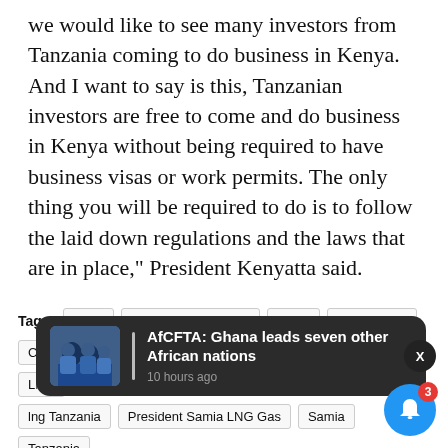we would like to see many investors from Tanzania coming to do business in Kenya. And I want to say is this, Tanzanian investors are free to come and do business in Kenya without being required to have business visas or work permits. The only thing you will be required to do is to follow the laid down regulations and the laws that are in place," President Kenyatta said.
Tags: AfDB | AFDB funds for LNG | Africa | Coronavirus | COVID-19 | East Africa | East African Community (EAC) | LNG | lng Tanzania | President Samia LNG Gas | Samia | Tanzania
[Figure (screenshot): Notification popup showing 'AfCFTA: Ghana leads seven other African nations' from 10 hours ago, with a thumbnail image of people in blue clothing, a vertical bar separator, and an X close button. A blue bell notification button with badge showing 3 is in the bottom right corner.]